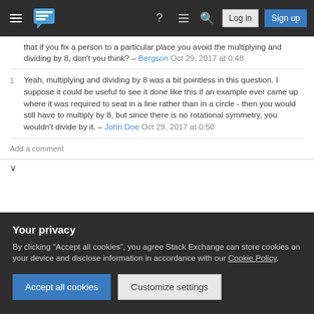Stack Exchange navigation bar with hamburger menu, logo, help, chat, search icons, Log in and Sign up buttons
that if you fix a person to a particular place you avoid the multiplying and dividing by 8, don't you think? – Bergson Oct 29, 2017 at 0:48
1  Yeah, multiplying and dividing by 8 was a bit pointless in this question. I suppose it could be useful to see it done like this if an example ever came up where it was required to seat in a line rather than in a circle - then you would still have to multiply by 8, but since there is no rotational symmetry, you wouldn't divide by it. – John Doe Oct 29, 2017 at 0:50
Add a comment
Your privacy
By clicking "Accept all cookies", you agree Stack Exchange can store cookies on your device and disclose information in accordance with our Cookie Policy.
Accept all cookies
Customize settings